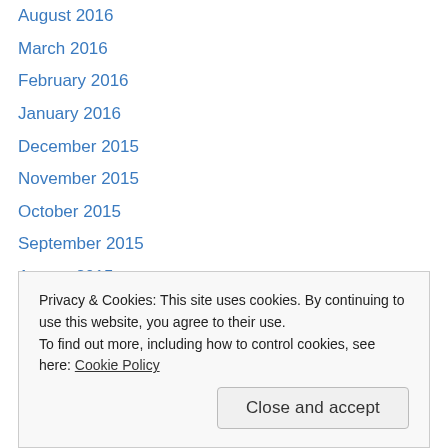August 2016
March 2016
February 2016
January 2016
December 2015
November 2015
October 2015
September 2015
August 2015
July 2015
June 2015
May 2015
March 2015
Privacy & Cookies: This site uses cookies. By continuing to use this website, you agree to their use. To find out more, including how to control cookies, see here: Cookie Policy
February 2014